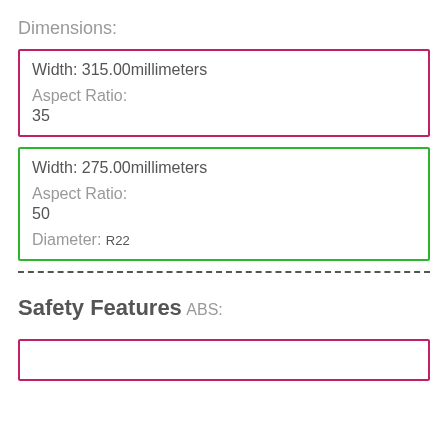Dimensions:
Width: 315.00millimeters
Aspect Ratio:
35
Width: 275.00millimeters
Aspect Ratio:
50
Diameter: R22
Safety Features
ABS: